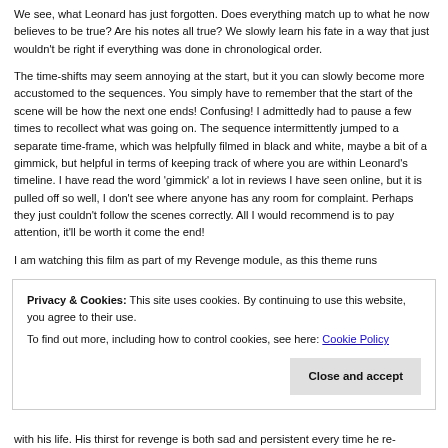We see, what Leonard has just forgotten. Does everything match up to what he now believes to be true? Are his notes all true? We slowly learn his fate in a way that just wouldn't be right if everything was done in chronological order.
The time-shifts may seem annoying at the start, but it you can slowly become more accustomed to the sequences. You simply have to remember that the start of the scene will be how the next one ends! Confusing! I admittedly had to pause a few times to recollect what was going on. The sequence intermittently jumped to a separate time-frame, which was helpfully filmed in black and white, maybe a bit of a gimmick, but helpful in terms of keeping track of where you are within Leonard's timeline. I have read the word 'gimmick' a lot in reviews I have seen online, but it is pulled off so well, I don't see where anyone has any room for complaint. Perhaps they just couldn't follow the scenes correctly. All I would recommend is to pay attention, it'll be worth it come the end!
I am watching this film as part of my Revenge module, as this theme runs
Privacy & Cookies: This site uses cookies. By continuing to use this website, you agree to their use. To find out more, including how to control cookies, see here: Cookie Policy
with his life. His thirst for revenge is both sad and persistent every time he re-